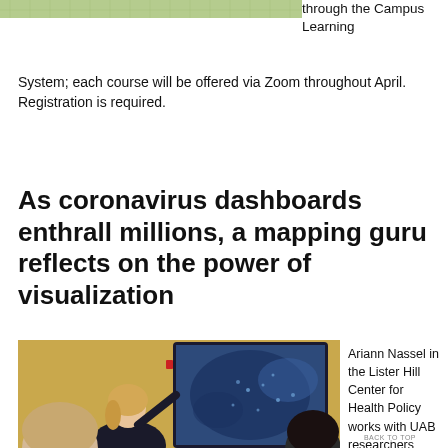[Figure (photo): Green map image strip at top of page, partially visible]
through the Campus Learning System; each course will be offered via Zoom throughout April. Registration is required.
As coronavirus dashboards enthrall millions, a mapping guru reflects on the power of visualization
[Figure (photo): Ariann Nassel presenting in front of a large screen showing a map, with audience members in foreground]
Ariann Nassel in the Lister Hill Center for Health Policy works with UAB researchers